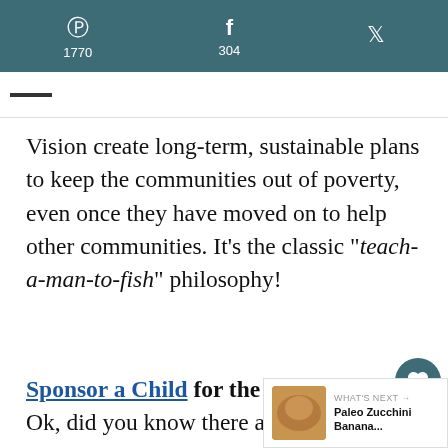Pinterest 1770  Facebook 304  Twitter
Vision create long-term, sustainable plans to keep the communities out of poverty, even once they have moved on to help other communities. It's the classic "teach-a-man-to-fish" philosophy!
Sponsor a Child for the holiday season. Ok, did you know there are on 14 more Saturdays until Christmas?! My kids are already talking about w would like to receive, which we try to
[Figure (infographic): Social share widget with heart/like button showing 2.1K and a share icon]
[Figure (infographic): What's Next box showing Paleo Zucchini Banana... with thumbnail image]